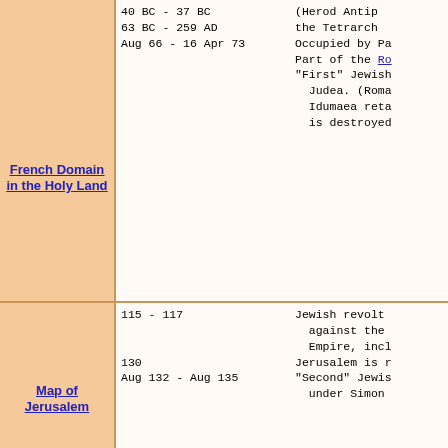| Links | Dates | Events |
| --- | --- | --- |
| French Domain in the Holy Land | 40 BC - 37 BC
63 BC - 259 AD
Aug 66 - 16 Apr 73 | (Herod Antipas
the Tetrarch
Occupied by Pa...
Part of the Ro...
"First" Jewish...
Judea. (Roma...
Idumaea reta...
is destroyed... |
| Map of Jerusalem | 115 - 117

130
Aug 132 - Aug 135 | Jewish revolt
against the
Empire, incl...
Jerusalem is r...
"Second" Jewis...
under Simon... |
| Map of 1947 UN Partition Plan | 259 - 272
272 - 17 Jan 395
May 351 - 352

17 Jan 395 - Apr 637
May 614 - 628
Apr 637 - 15 Jul 1099 | Part of the Pa...
Part of the Ro...
Jews in Roman
Gallus under...
Part of the Ea...
Occupied by th...
Part of the Mu...
661-750, Abb...
Caliphate. |
|  | 15 Jul 1099 - 31 Jul 1291 | Latin Christia...
of Jerusalem...
4 Aug 1244;
Sidon 1 Jan...
and 14 Jul 1...
and 31 Jul 1... |
| Map of Israeli Settlements in | 4 Jul 1187 | Battle of Hatt... |